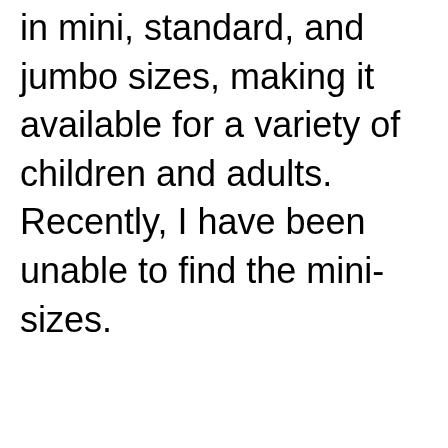in mini, standard, and jumbo sizes, making it available for a variety of children and adults. Recently, I have been unable to find the mini-sizes.